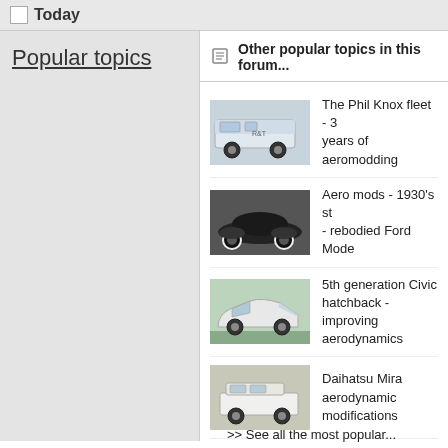Today
Popular topics
Other popular topics in this forum...
The Phil Knox fleet - 3 years of aeromodding
Aero mods - 1930's st - rebodied Ford Mode
5th generation Civic hatchback - improving aerodynamics
Daihatsu Mira aerodynamic modifications
>> See all the most popular...